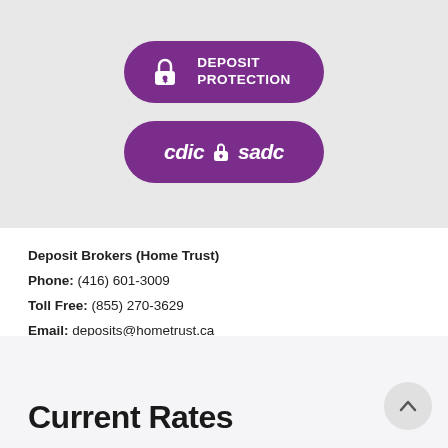[Figure (logo): CDIC Deposit Protection badge - purple rounded rectangle with a lock icon (white padlock with maple leaf) and text DEPOSIT PROTECTION in white]
[Figure (logo): CDIC SADC badge - purple rounded rectangle with text 'cdic' followed by a lock icon and 'sadc' in white]
Deposit Brokers (Home Trust)
Phone: (416) 601-3009
Toll Free: (855) 270-3629
Email: deposits@hometrust.ca
Current Rates